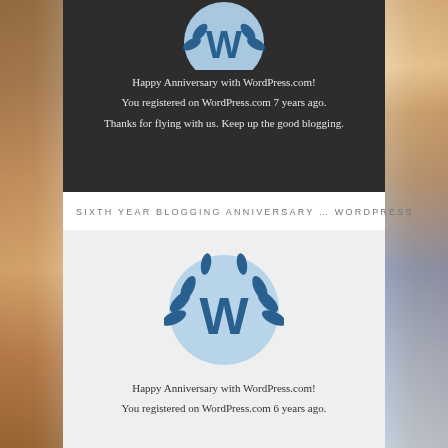[Figure (screenshot): WordPress 7th year blogging anniversary badge on dark background, partially cropped at top. Shows WordPress W logo with laurel wreath in light blue circle, with text: Happy Anniversary with WordPress.com! You registered on WordPress.com 7 years ago. Thanks for flying with us. Keep up the good blogging.]
SIXTH YEAR BLOGGING ANNIVERSARY … WORDPRESS
[Figure (screenshot): WordPress 6th year blogging anniversary badge on light grey background. Shows WordPress W logo with laurel wreath in blue circle. Text: Happy Anniversary with WordPress.com! You registered on WordPress.com 6 years ago.]